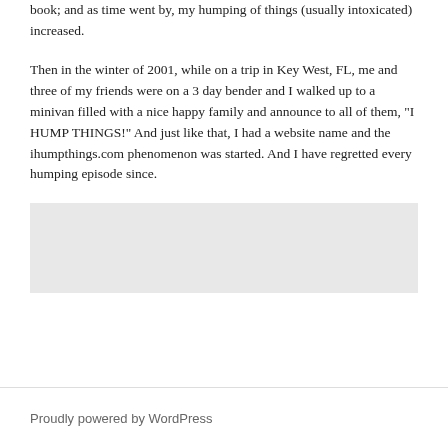book; and as time went by, my humping of things (usually intoxicated) increased.
Then in the winter of 2001, while on a trip in Key West, FL, me and three of my friends were on a 3 day bender and I walked up to a minivan filled with a nice happy family and announce to all of them, "I HUMP THINGS!" And just like that, I had a website name and the ihumpthings.com phenomenon was started. And I have regretted every humping episode since.
[Figure (other): Gray rectangular box, likely an advertisement or embedded media placeholder]
Proudly powered by WordPress